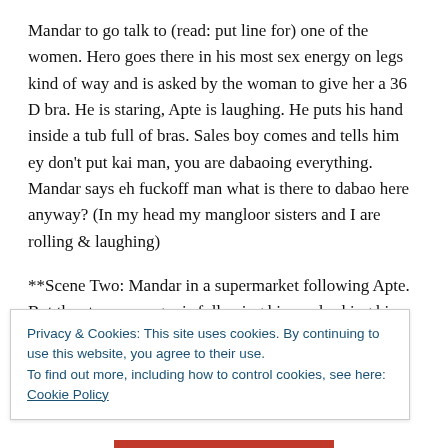Mandar to go talk to (read: put line for) one of the women. Hero goes there in his most sex energy on legs kind of way and is asked by the woman to give her a 36 D bra. He is staring, Apte is laughing. He puts his hand inside a tub full of bras. Sales boy comes and tells him ey don't put kai man, you are dabaoing everything. Mandar says eh fuckoff man what is there to dabao here anyway? (In my head my mangloor sisters and I are rolling & laughing)
**Scene Two: Mandar in a supermarket following Apte. But the store manager is following him and asking him
Privacy & Cookies: This site uses cookies. By continuing to use this website, you agree to their use.
To find out more, including how to control cookies, see here: Cookie Policy
Close and accept